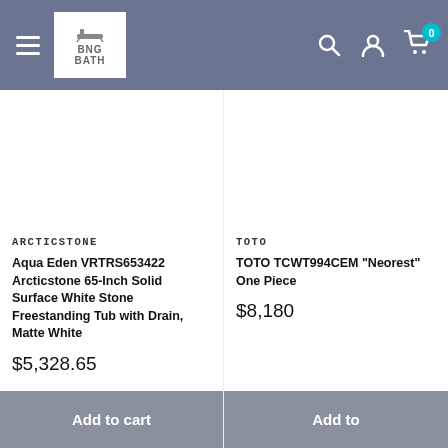BNG BATH
ARCTICSTONE
Aqua Eden VRTRS653422 Arcticstone 65-Inch Solid Surface White Stone Freestanding Tub with Drain, Matte White
$5,328.65
TOTO
TOTO TCWT994CEM "Neorest" One Piece
$8,180
Add to cart
Add to